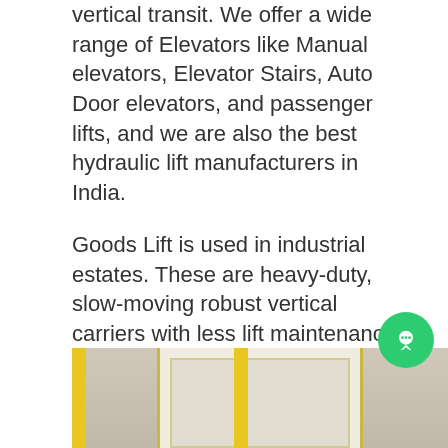vertical transit. We offer a wide range of Elevators like Manual elevators, Elevator Stairs, Auto Door elevators, and passenger lifts, and we are also the best hydraulic lift manufacturers in India.

Goods Lift is used in industrial estates. These are heavy-duty, slow-moving robust vertical carriers with less lift maintenance cost. Our Goods Lift is subject to strict lift manufacturers and elevator installation that are meant to cover consumers and offer maximum safety.
[Figure (photo): Bottom portion of a photo showing what appears to be a goods lift or elevator door with yellow trim on the sides and a light-colored door panel in a commercial/industrial setting.]